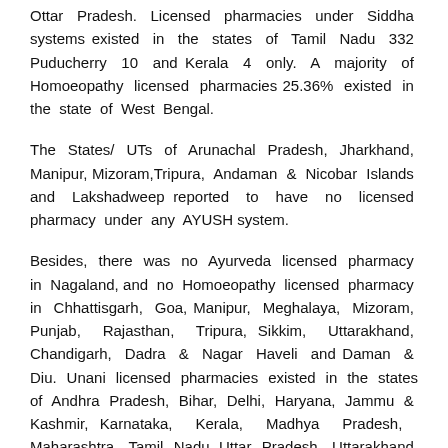Ottar Pradesh. Licensed pharmacies under Siddha systems existed in the states of Tamil Nadu 332 Puducherry 10 and Kerala 4 only. A majority of Homoeopathy licensed pharmacies 25.36% existed in the state of West Bengal.
The States/ UTs of Arunachal Pradesh, Jharkhand, Manipur, Mizoram,Tripura, Andaman & Nicobar Islands and Lakshadweep reported to have no licensed pharmacy under any AYUSH system.
Besides, there was no Ayurveda licensed pharmacy in Nagaland, and no Homoeopathy licensed pharmacy in Chhattisgarh, Goa, Manipur, Meghalaya, Mizoram, Punjab, Rajasthan, Tripura, Sikkim, Uttarakhand, Chandigarh, Dadra & Nagar Haveli and Daman & Diu. Unani licensed pharmacies existed in the states of Andhra Pradesh, Bihar, Delhi, Haryana, Jammu & Kashmir, Karnataka, Kerala, Madhya Pradesh,  Maharashtra, Tamil Nadu, Uttar Pradesh, Uttarakhand and West Bengal.
Except Meghalaya and seven states mentioned above which had no AYUSH pharmacy, rest of the states have pharmacies